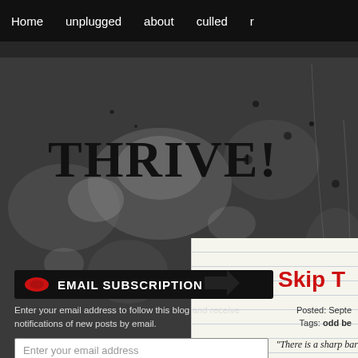Home | unplugged | about | culled | r
[Figure (screenshot): Dark grunge textured background in black and white with ink splatters and distressed surface]
THRIVE!
[Figure (screenshot): Right panel showing notepad-style lined paper with arrow and partial blog post text]
Skip T
Posted: Septe
Tags: odd be
“There is a sharp bar
EMAIL SUBSCRIPTION
Enter your email address to follow this blog and receive notifications of new posts by email.
Enter your email address